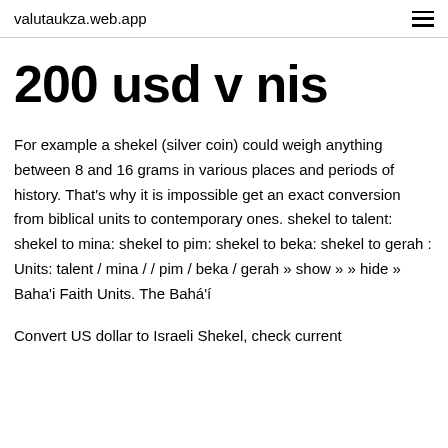valutaukza.web.app
200 usd v nis
For example a shekel (silver coin) could weigh anything between 8 and 16 grams in various places and periods of history. That's why it is impossible get an exact conversion from biblical units to contemporary ones. shekel to talent: shekel to mina: shekel to pim: shekel to beka: shekel to gerah : Units: talent / mina / / pim / beka / gerah » show » » hide » Baha'i Faith Units. The Bahá'í
Convert US dollar to Israeli Shekel, check current